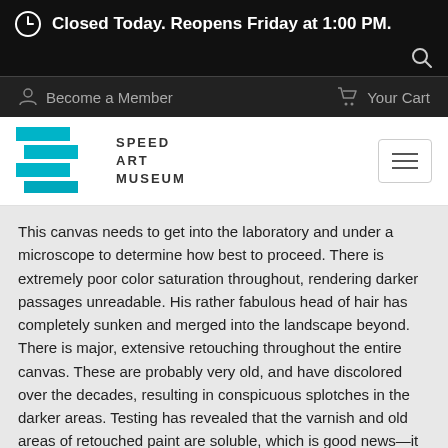Closed Today. Reopens Friday at 1:00 PM.
Become a Member   Your Cart
[Figure (logo): Speed Art Museum logo with cyan/teal geometric shapes and text SPEED ART MUSEUM]
This canvas needs to get into the laboratory and under a microscope to determine how best to proceed. There is extremely poor color saturation throughout, rendering darker passages unreadable. His rather fabulous head of hair has completely sunken and merged into the landscape beyond. There is major, extensive retouching throughout the entire canvas. These are probably very old, and have discolored over the decades, resulting in conspicuous splotches in the darker areas. Testing has revealed that the varnish and old areas of retouched paint are soluble, which is good news—it means that the old varnish hasn't crosslinked to the original paint layer. The conservator will carefully remove all the varnish and old areas of retouching. They'll then inpaint and tone all areas of loss in a completely reversible process. A coat of stable varnish will be